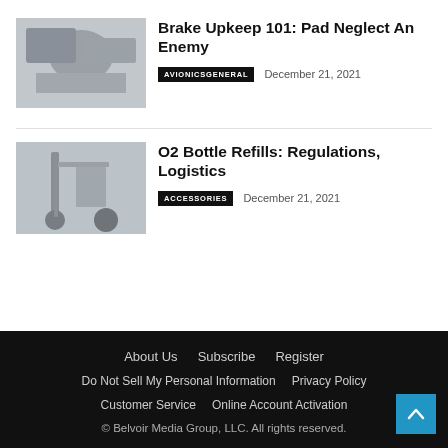[Figure (photo): Person working on brake pads, thumbnail image]
Brake Upkeep 101: Pad Neglect An Enemy
AVIONICSGENERAL   December 21, 2021
[Figure (photo): Close-up of wheelchair or equipment with wheels, thumbnail image]
O2 Bottle Refills: Regulations, Logistics
ACCESSORIES   December 21, 2021
About Us   Subscribe   Register
Do Not Sell My Personal Information   Privacy Policy
Customer Service   Online Account Activation
© Belvoir Media Group, LLC. All rights reserved.